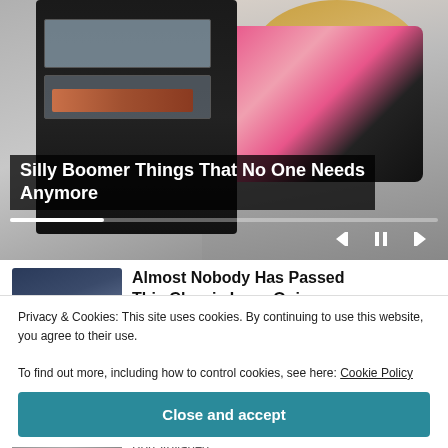[Figure (screenshot): Video player showing a woman with a black travel luggage/organizer, with playback controls and progress bar. Video title overlay reads 'Silly Boomer Things That No One Needs Anymore'.]
Silly Boomer Things That No One Needs Anymore
[Figure (photo): Thumbnail showing a person wearing a dark cowboy hat.]
Almost Nobody Has Passed This Classic Logo Quiz
Privacy & Cookies: This site uses cookies. By continuing to use this website, you agree to their use.
To find out more, including how to control cookies, see here: Cookie Policy
Close and accept
[Figure (photo): Partially visible thumbnail at bottom of page.]
Bon Voyaged